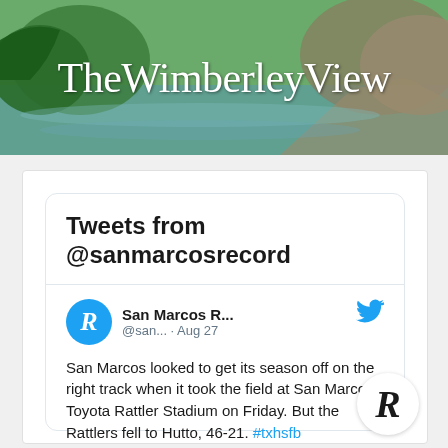[Figure (screenshot): The Wimberley View newspaper header banner with nature/water background]
Tweets from @sanmarcosrecord
[Figure (screenshot): Embedded tweet from San Marcos R... (@san...) dated Aug 27: San Marcos looked to get its season off on the right track when it took the field at San Marcos Toyota Rattler Stadium on Friday. But the Rattlers fell to Hutto, 46-21. #txhsfb @smdrsports sanmarcosrecord.com/sports/rattler...]